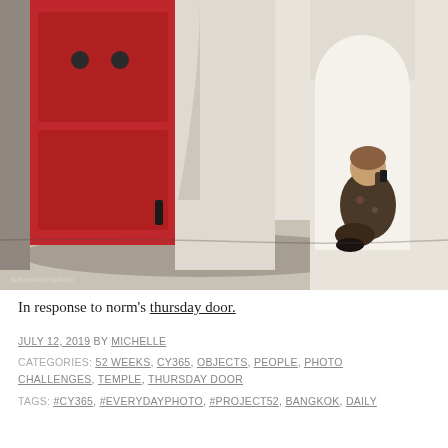[Figure (photo): Photograph of an elderly woman sitting on the ground leaning against a white wall beside a large red door, with an arched alcove visible. Photo taken at a temple in Bangkok. Watermark reads 'nahanavarnphoto' in bottom left corner.]
In response to norm's thursday door.
JULY 12, 2019 BY MICHELLE
CATEGORIES: 52 WEEKS, CY365, OBJECTS, PEOPLE, PHOTO CHALLENGES, TEMPLE, THURSDAY DOOR
TAGS: #CY365, #EVERYDAYPHOTO, #PROJECT52, BANGKOK, DAILY